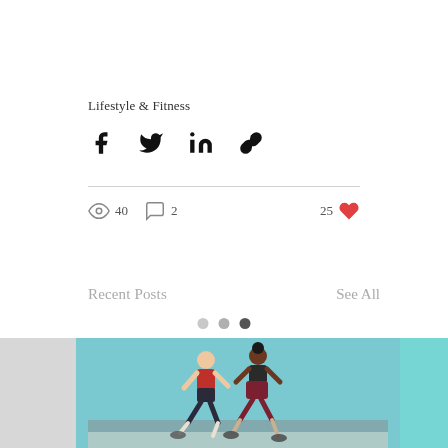Lifestyle & Fitness
[Figure (infographic): Social share icons: Facebook, Twitter, LinkedIn, Link/chain icon]
40 views  2 comments  25 likes
Recent Posts
See All
[Figure (illustration): Carousel navigation dots (3 dots, last one dark/selected) above a row of recent post thumbnails. Center thumbnail shows two runners (man and woman) jogging against a light blue background.]